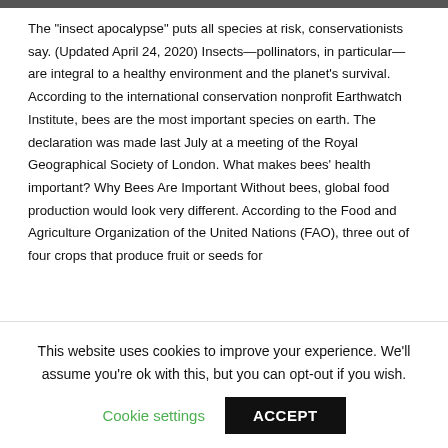The "insect apocalypse" puts all species at risk, conservationists say. (Updated April 24, 2020) Insects—pollinators, in particular—are integral to a healthy environment and the planet's survival. According to the international conservation nonprofit Earthwatch Institute, bees are the most important species on earth. The declaration was made last July at a meeting of the Royal Geographical Society of London. What makes bees' health important? Why Bees Are Important Without bees, global food production would look very different. According to the Food and Agriculture Organization of the United Nations (FAO), three out of four crops that produce fruit or seeds for
This website uses cookies to improve your experience. We'll assume you're ok with this, but you can opt-out if you wish.
Cookie settings   ACCEPT